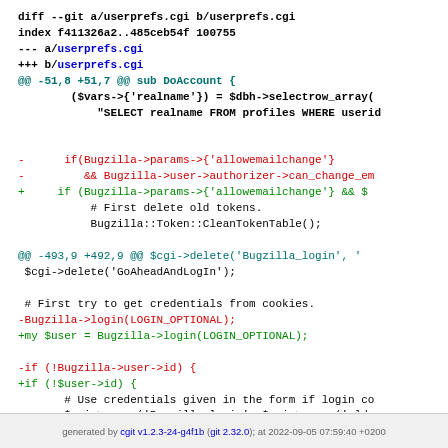[Figure (screenshot): Git diff output showing changes to userprefs.cgi file, with added/removed lines highlighted in green and red respectively, context lines in black, and hunk headers in cyan.]
generated by cgit v1.2.3-24-g4f1b (git 2.32.0); at 2022-09-05 07:59:40 +0200